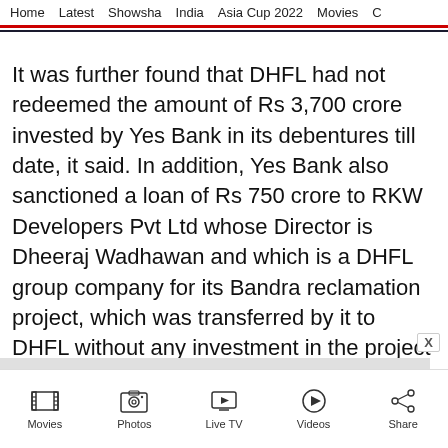Home  Latest  Showsha  India  Asia Cup 2022  Movies  C
It was further found that DHFL had not redeemed the amount of Rs 3,700 crore invested by Yes Bank in its debentures till date, it said. In addition, Yes Bank also sanctioned a loan of Rs 750 crore to RKW Developers Pvt Ltd whose Director is Dheeraj Wadhawan and which is a DHFL group company for its Bandra reclamation project, which was transferred by it to DHFL without any investment in the project for which it was sanctioned, they said.
Movies  Photos  Live TV  Videos  Share